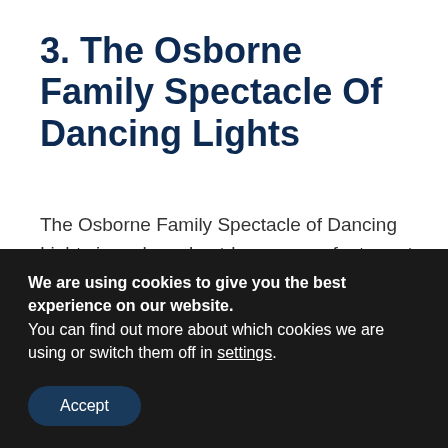3. The Osborne Family Spectacle Of Dancing Lights
The Osborne Family Spectacle of Dancing Lights is perhaps best-known as a feature at Walt Disney World until it was discontinued after a final performance in January 2016. It began life in the 1980s as a display at a family home in Little Rock, Arkansas which became so ornate and detailed it became...
We are using cookies to give you the best experience on our website.
You can find out more about which cookies we are using or switch them off in settings.